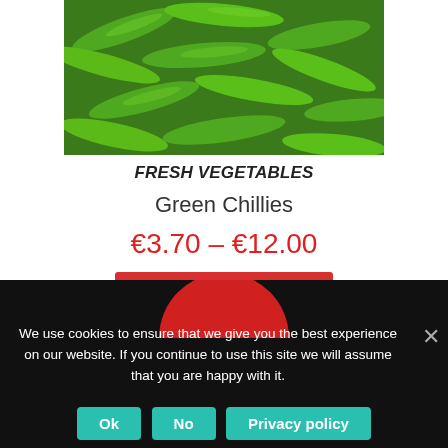[Figure (photo): Close-up photo of green chillies (peppers) piled together, vivid green color.]
FRESH VEGETABLES
Green Chillies
€3.70 – €12.00
Select options
[Figure (logo): Red semicircle arch logo on black background.]
We use cookies to ensure that we give you the best experience on our website. If you continue to use this site we will assume that you are happy with it.
Ok  No  Privacy policy